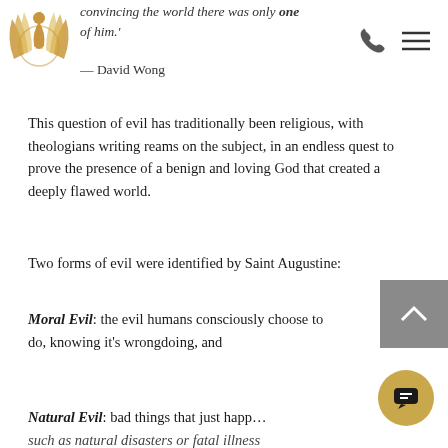[Figure (logo): Gold stylized bird/wings logo with circular emblem, brand logo top-left]
convincing the world there was only one of him.'
— David Wong
This question of evil has traditionally been religious, with theologians writing reams on the subject, in an endless quest to prove the presence of a benign and loving God that created a deeply flawed world.
Two forms of evil were identified by Saint Augustine:
Moral Evil: the evil humans consciously choose to do, knowing it's wrongdoing, and
Natural Evil: bad things that just happ... such as natural disasters or fatal illness